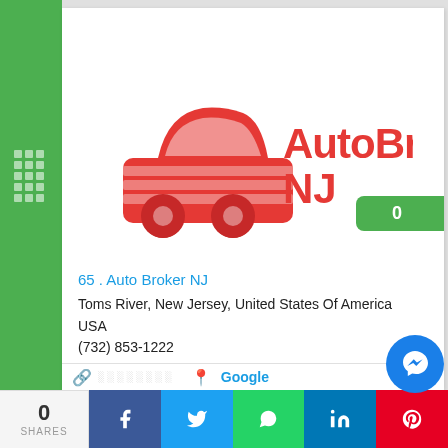[Figure (logo): AutoBrokerNJ logo — red car icon on the left and red text 'AutoBrokerNJ' on the right, with a green speech-bubble badge showing '0']
65 . Auto Broker NJ
Toms River, New Jersey, United States Of America
USA
(732) 853-1222
🔗 ░░░░░░░░   📍  Google
0
SHARES